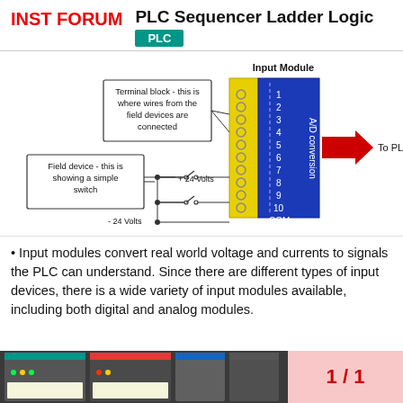INST FORUM — PLC Sequencer Ladder Logic, PLC
[Figure (engineering-diagram): PLC Input Module diagram showing terminal block with numbered terminals 1-10 and COM, yellow terminal strip, blue module body with A/D conversion label, field device (simple switch) connected at +24V and -24V, arrow pointing To PLC]
• Input modules convert real world voltage and currents to signals the PLC can understand. Since there are different types of input devices, there is a wide variety of input modules available, including both digital and analog modules.
[Figure (photo): Bottom strip showing PLC hardware modules photograph on left and page number 1/1 on pink background on right]